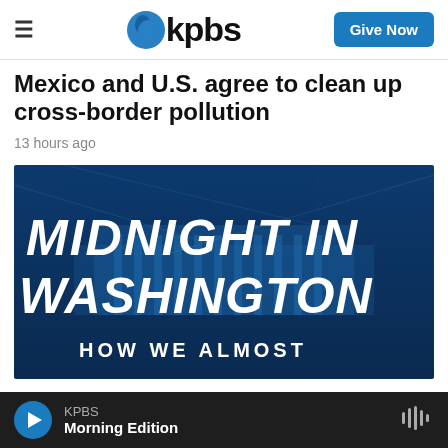≡  kpbs  Give Now
Mexico and U.S. agree to clean up cross-border pollution
13 hours ago
[Figure (illustration): Book cover for 'Midnight in Washington: How We Almost' — dark blue background with a building silhouette and large white bold italic text]
KPBS Morning Edition (audio player bar)